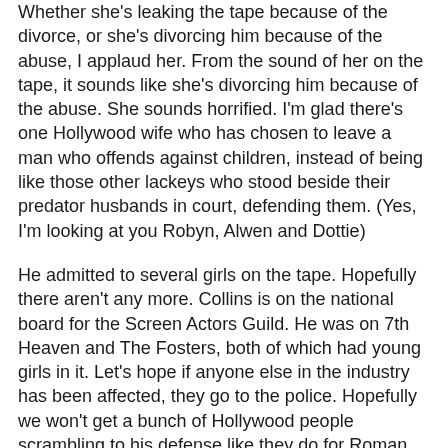Whether she's leaking the tape because of the divorce, or she's divorcing him because of the abuse, I applaud her. From the sound of her on the tape, it sounds like she's divorcing him because of the abuse. She sounds horrified. I'm glad there's one Hollywood wife who has chosen to leave a man who offends against children, instead of being like those other lackeys who stood beside their predator husbands in court, defending them. (Yes, I'm looking at you Robyn, Alwen and Dottie)
He admitted to several girls on the tape. Hopefully there aren't any more. Collins is on the national board for the Screen Actors Guild. He was on 7th Heaven and The Fosters, both of which had young girls in it. Let's hope if anyone else in the industry has been affected, they go to the police. Hopefully we won't get a bunch of Hollywood people scrambling to his defense like they do for Roman and Woody….